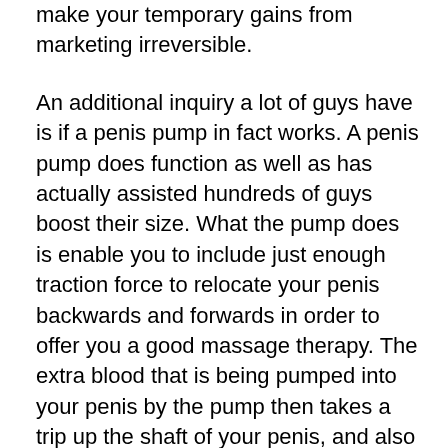make your temporary gains from marketing irreversible.
An additional inquiry a lot of guys have is if a penis pump in fact works. A penis pump does function as well as has actually assisted hundreds of guys boost their size. What the pump does is enable you to include just enough traction force to relocate your penis backwards and forwards in order to offer you a good massage therapy. The extra blood that is being pumped into your penis by the pump then takes a trip up the shaft of your penis, and also the chambers underneath it. This enables the cells in the penis to increase substantially, developing substantial amounts of cells that will become transferred in your penis.